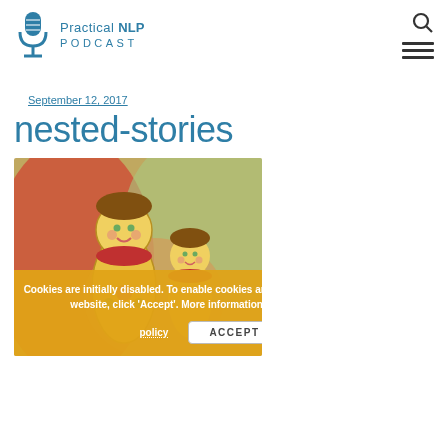Practical NLP PODCAST
September 12, 2017
nested-stories
[Figure (photo): Photo of Russian nesting dolls (matryoshka) with blurred colorful background]
Cookies are initially disabled. To enable cookies and use all the features of the website, click 'Accept'. More information and cookie policy  ACCEPT